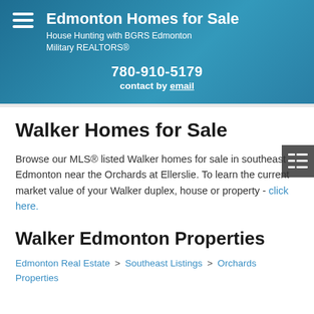Edmonton Homes for Sale
House Hunting with BGRS Edmonton Military REALTORS®
780-910-5179
contact by email
Walker Homes for Sale
Browse our MLS® listed Walker homes for sale in southeast Edmonton near the Orchards at Ellerslie. To learn the current market value of your Walker duplex, house or property - click here.
Walker Edmonton Properties
Edmonton Real Estate > Southeast Listings > Orchards Properties